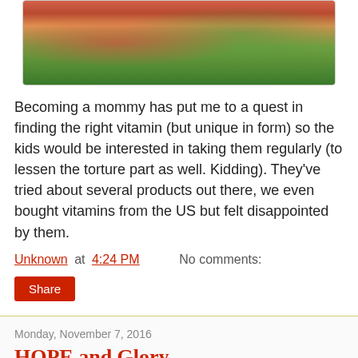[Figure (photo): Photo of children with colorful candies/vitamins]
Becoming a mommy has put me to a quest in finding the right vitamin (but unique in form) so the kids would be interested in taking them regularly (to lessen the torture part as well. Kidding). They've tried about several products out there, we even bought vitamins from the US but felt disappointed by them.
Unknown at 4:24 PM    No comments:
Share
Monday, November 7, 2016
HOPE and Glory
The Hope Christian High School Alumni Association Inc. (HCHSAAI) will be having a Grand Alumni Homecoming in celebration of its Alma Mater's 70th Foundation Day at the Manila Hotel Fiesta Pavilion on November 20, 2016.